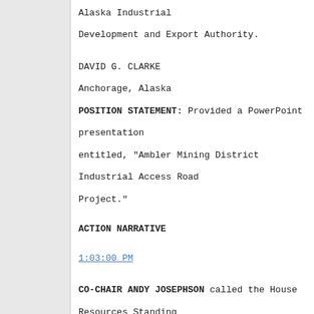Alaska Industrial

Development and Export Authority.
DAVID G. CLARKE

Anchorage, Alaska
POSITION STATEMENT: Provided a PowerPoint presentation entitled, "Ambler Mining District Industrial Access Road Project."
ACTION NARRATIVE
1:03:00 PM
CO-CHAIR ANDY JOSEPHSON called the House Resources Standing Committee meeting to order at 1:03 p.m.